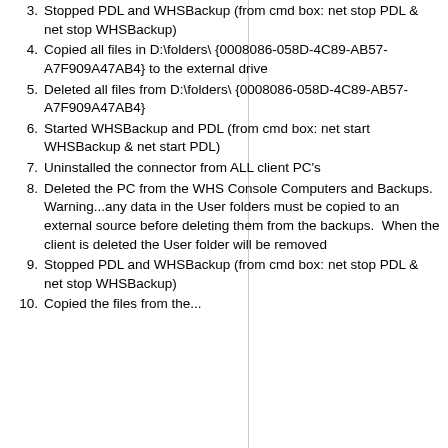3. Stopped PDL and WHSBackup (from cmd box: net stop PDL & net stop WHSBackup)
4. Copied all files in D:\folders\{0008086-058D-4C89-AB57-A7F909A47AB4} to the external drive
5. Deleted all files from D:\folders\{0008086-058D-4C89-AB57-A7F909A47AB4}
6. Started WHSBackup and PDL (from cmd box: net start WHSBackup & net start PDL)
7. Uninstalled the connector from ALL client PC's
8. Deleted the PC from the WHS Console Computers and Backups.  Warning...any data in the User folders must be copied to an external source before deleting them from the backups.  When the client is deleted the User folder will be removed
9. Stopped PDL and WHSBackup (from cmd box: net stop PDL & net stop WHSBackup)
10. Copied the files from the...